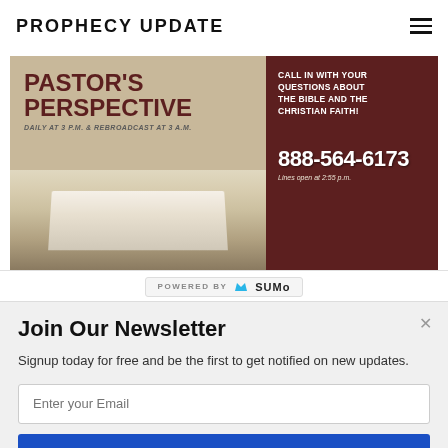PROPHECY UPDATE
[Figure (illustration): Pastor's Perspective radio show banner. Left side shows an open Bible book with text 'PASTOR'S PERSPECTIVE' in large dark red bold letters, subtitle 'DAILY AT 3 P.M. & REBROADCAST AT 3 A.M.' Right side has dark brown/maroon background with text 'CALL IN WITH YOUR QUESTIONS ABOUT THE BIBLE AND THE CHRISTIAN FAITH!', phone number '888-564-6173', and 'Lines open at 2:55 p.m.']
POWERED BY SUMO
Join Our Newsletter
Signup today for free and be the first to get notified on new updates.
Enter your Email
Subscribe Now